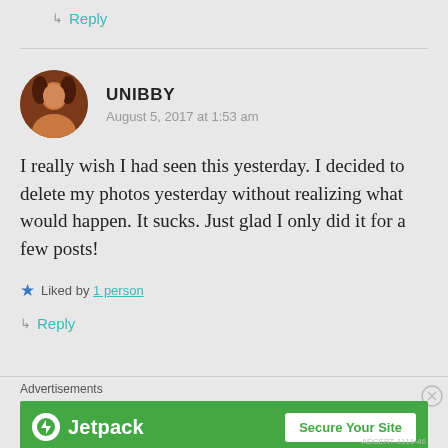↳ Reply
UNIBBY
August 5, 2017 at 1:53 am
I really wish I had seen this yesterday. I decided to delete my photos yesterday without realizing what would happen. It sucks. Just glad I only did it for a few posts!
★ Liked by 1 person
↳ Reply
Advertisements
[Figure (other): Jetpack advertisement banner with green background showing Jetpack logo and 'Secure Your Site' button]